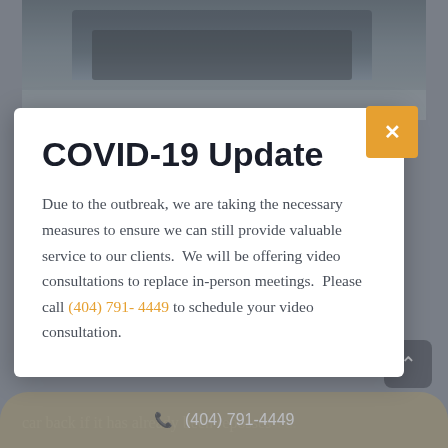[Figure (screenshot): Screenshot of a law firm website showing a COVID-19 update modal dialog over a dimmed background. The background shows a truck photo at top and partially visible text about bankruptcy and repossession. A tan/gold phone bar is visible at the bottom.]
COVID-19 Update
Due to the outbreak, we are taking the necessary measures to ensure we can still provide valuable service to our clients.  We will be offering video consultations to replace in-person meetings.  Please call (404) 791- 4449 to schedule your video consultation.